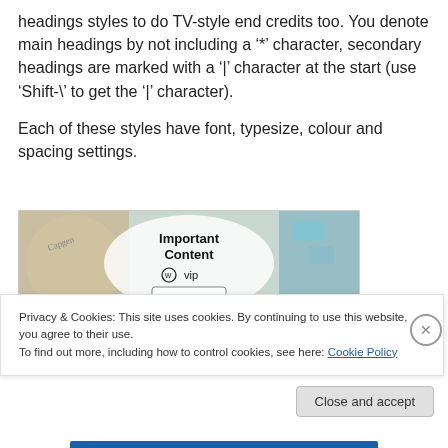headings styles to do TV-style end credits too. You denote main headings by not including a '*' character, secondary headings are marked with a '|' character at the start (use 'Shift-\' to get the '|' character).
Each of these styles have font, typesize, colour and spacing settings.
[Figure (screenshot): Advertisement banner for WordPress VIP 'Important Content' with colorful card-like design showing Capgen and Salesforce logos. Center shows bold text 'Important Content', WordPress VIP logo, and 'Learn more →' button.]
Privacy & Cookies: This site uses cookies. By continuing to use this website, you agree to their use.
To find out more, including how to control cookies, see here: Cookie Policy
Close and accept